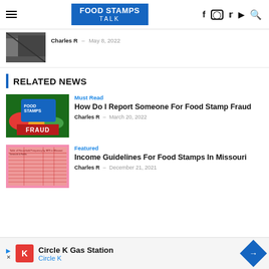FOOD STAMPS TALK
Charles R  –  May 8, 2022
RELATED NEWS
Must Read
How Do I Report Someone For Food Stamp Fraud
Charles R  –  March 20, 2022
Featured
Income Guidelines For Food Stamps In Missouri
Charles R  –  December 21, 2021
Circle K Gas Station Circle K